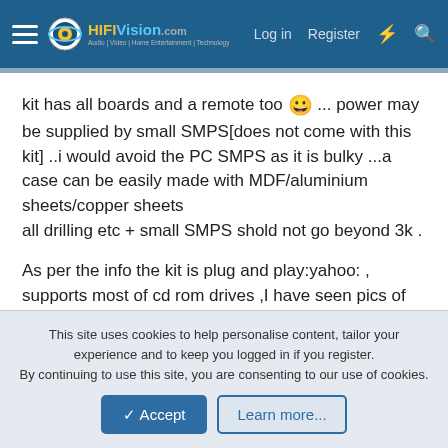HiFiVision.com — Log in | Register
kit has all boards and a remote too 😀 ... power may be supplied by small SMPS[does not come with this kit] ..i would avoid the PC SMPS as it is bulky ...a case can be easily made with MDF/aluminium sheets/copper sheets
all drilling etc + small SMPS shold not go beyond 3k .
As per the info the kit is plug and play:yahoo: , supports most of cd rom drives ,I have seen pics of taking optical out [lost the links]
LINKS:
This site uses cookies to help personalise content, tailor your experience and to keep you logged in if you register.
By continuing to use this site, you are consenting to our use of cookies.